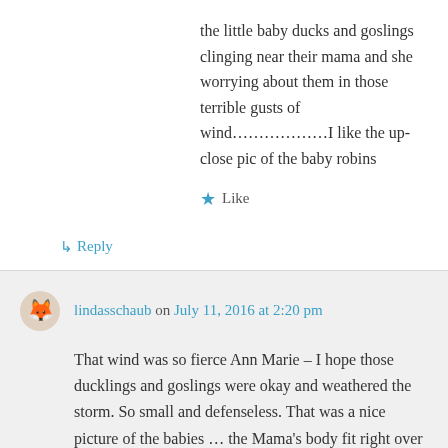the little baby ducks and goslings clinging near their mama and she worrying about them in those terrible gusts of wind………………I like the up-close pic of the baby robins
★ Like
↳ Reply
lindasschaub on July 11, 2016 at 2:20 pm
That wind was so fierce Ann Marie – I hope those ducklings and goslings were okay and weathered the storm. So small and defenseless. That was a nice picture of the babies … the Mama's body fit right over the babies and all you could see were tufts of